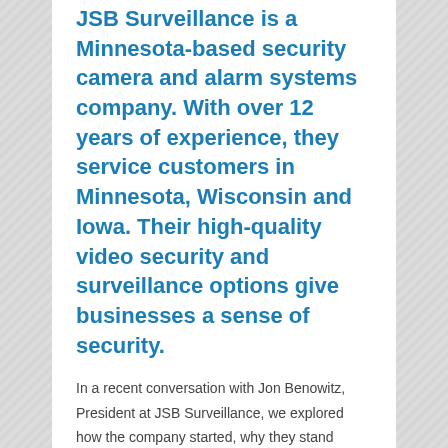JSB Surveillance is a Minnesota-based security camera and alarm systems company. With over 12 years of experience, they service customers in Minnesota, Wisconsin and Iowa. Their high-quality video security and surveillance options give businesses a sense of security.
In a recent conversation with Jon Benowitz, President at JSB Surveillance, we explored how the company started, why they stand above their competition and what customer service means to JSB Surveillance.
[Figure (illustration): Two blue silhouette figures in a conversation/interview setting — one person with a briefcase on the left, another person behind a podium/desk on the right with a lanyard, and a microphone in between.]